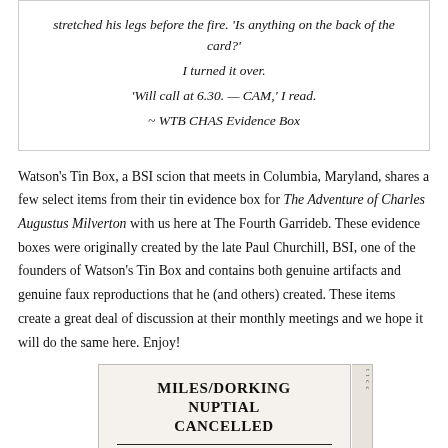stretched his legs before the fire. 'Is anything on the back of the card?' I turned it over. 'Will call at 6.30. — CAM,' I read. ~ WTB CHAS Evidence Box
Watson's Tin Box, a BSI scion that meets in Columbia, Maryland, shares a few select items from their tin evidence box for The Adventure of Charles Augustus Milverton with us here at The Fourth Garrideb. These evidence boxes were originally created by the late Paul Churchill, BSI, one of the founders of Watson's Tin Box and contains both genuine artifacts and genuine faux reproductions that he (and others) created. These items create a great deal of discussion at their monthly meetings and we hope it will do the same here. Enjoy!
[Figure (photo): A newspaper clipping or card with bold text reading 'MILES/DORKING NUPTIAL CANCELLED' followed by a horizontal rule and 'FAMILY AND FRIENDS' below.]